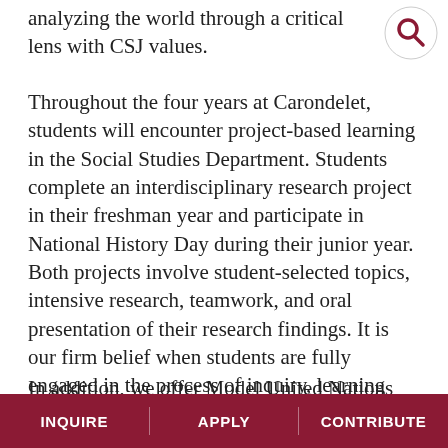analyzing the world through a critical lens with CSJ values.
Throughout the four years at Carondelet, students will encounter project-based learning in the Social Studies Department. Students complete an interdisciplinary research project in their freshman year and participate in National History Day during their junior year. Both projects involve student-selected topics, intensive research, teamwork, and oral presentation of their research findings. It is our firm belief when students are fully engaged in the process of inquiry, learning becomes more meaningful, and important skills are developed.
In addition, we offer Model United Nations and
INQUIRE   APPLY   CONTRIBUTE